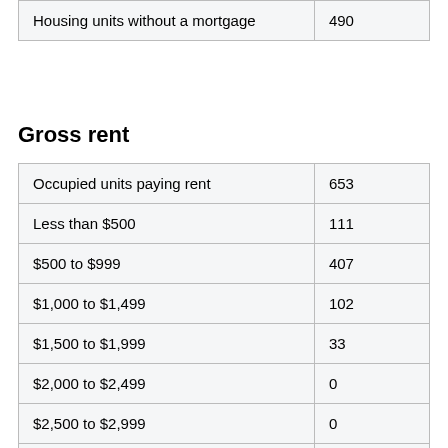| Housing units without a mortgage | 490 |
Gross rent
| Occupied units paying rent | 653 |
| Less than $500 | 111 |
| $500 to $999 | 407 |
| $1,000 to $1,499 | 102 |
| $1,500 to $1,999 | 33 |
| $2,000 to $2,499 | 0 |
| $2,500 to $2,999 | 0 |
| $3,000 or more | 0 |